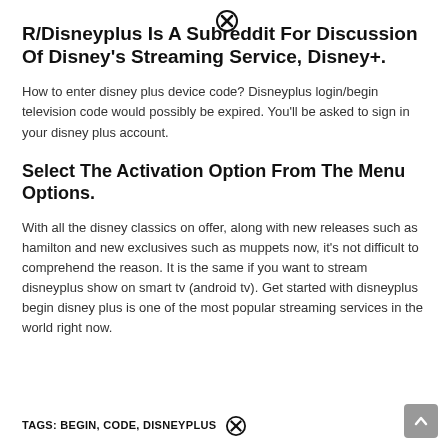R/Disneyplus Is A Subreddit For Discussion Of Disney's Streaming Service, Disney+.
How to enter disney plus device code? Disneyplus login/begin television code would possibly be expired. You'll be asked to sign in your disney plus account.
Select The Activation Option From The Menu Options.
With all the disney classics on offer, along with new releases such as hamilton and new exclusives such as muppets now, it's not difficult to comprehend the reason. It is the same if you want to stream disneyplus show on smart tv (android tv). Get started with disneyplus begin disney plus is one of the most popular streaming services in the world right now.
TAGS: BEGIN, CODE, DISNEYPLUS